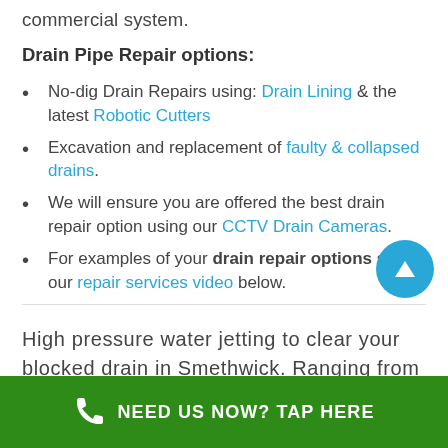commercial system.
Drain Pipe Repair options:
No-dig Drain Repairs using: Drain Lining & the latest Robotic Cutters
Excavation and replacement of faulty & collapsed drains.
We will ensure you are offered the best drain repair option using our CCTV Drain Cameras.
For examples of your drain repair options see our repair services video below.
High pressure water jetting to clear your blocked drain in Smethwick. Ranging from a small blocked pipe in a domestic residence to a com...
NEED US NOW? TAP HERE